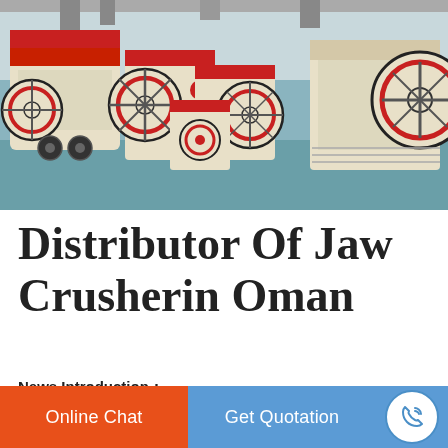[Figure (photo): Industrial jaw crusher machines in a factory setting. Multiple cream/beige and orange-red jaw crushers and impact crushers of various sizes arranged on a factory floor with teal/green painted ground.]
Distributor Of Jaw Crusherin Oman
News Introduction：
Online Chat
Get Quotation